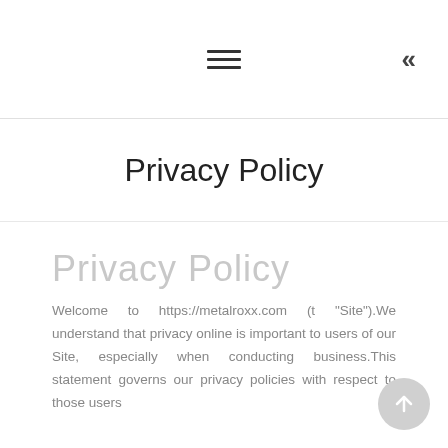≡  «
Privacy Policy
Privacy Policy
Welcome to https://metalroxx.com (t "Site").We understand that privacy online is important to users of our Site, especially when conducting business.This statement governs our privacy policies with respect to those users